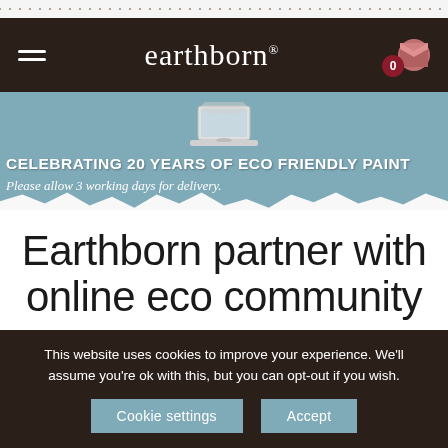earthborn® — navigation bar with hamburger menu and cart icon showing 0
[Figure (screenshot): Banner with laptop icon, heading 'CELEBRATING 20 YEARS OF ECO FRIENDLY PAINT' and subtext 'Please allow 3 working days for delivery.']
Earthborn partner with online eco community
This website uses cookies to improve your experience. We'll assume you're ok with this, but you can opt-out if you wish.
Cookie settings | Accept